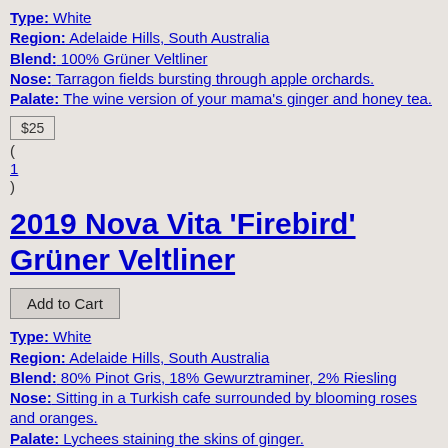Type: White
Region: Adelaide Hills, South Australia
Blend: 100% Grüner Veltliner
Nose: Tarragon fields bursting through apple orchards.
Palate: The wine version of your mama's ginger and honey tea.
$25
(
1
)
2019 Nova Vita 'Firebird' Grüner Veltliner
Add to Cart
Type: White
Region: Adelaide Hills, South Australia
Blend: 80% Pinot Gris, 18% Gewurztraminer, 2% Riesling
Nose: Sitting in a Turkish cafe surrounded by blooming roses and oranges.
Palate: Lychees staining the skins of ginger.
$30
(
1